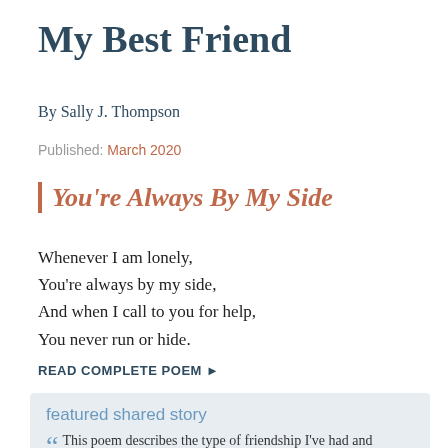My Best Friend
By Sally J. Thompson
Published: March 2020
You're Always By My Side
Whenever I am lonely,
You're always by my side,
And when I call to you for help,
You never run or hide.
READ COMPLETE POEM ►
featured shared story
This poem describes the type of friendship I've had and continue to have for approximately 12-13 years. We speak every day via texting with a good morning wish and end our night with a good...